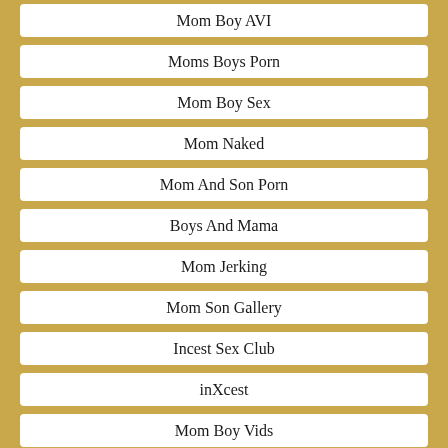Mom Boy AVI
Moms Boys Porn
Mom Boy Sex
Mom Naked
Mom And Son Porn
Boys And Mama
Mom Jerking
Mom Son Gallery
Incest Sex Club
inXcest
Mom Boy Vids
Son Mom Tube